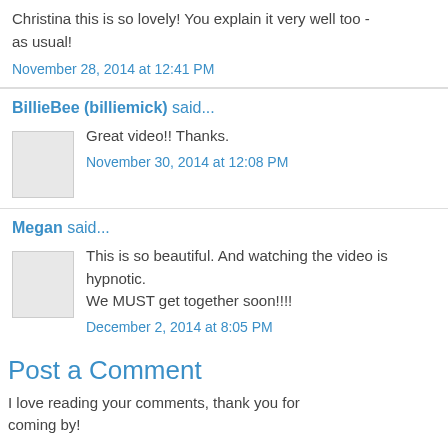Christina this is so lovely! You explain it very well too - as usual!
November 28, 2014 at 12:41 PM
BillieBee (billiemick) said...
Great video!! Thanks.
November 30, 2014 at 12:08 PM
Megan said...
This is so beautiful. And watching the video is hypnotic. We MUST get together soon!!!!
December 2, 2014 at 8:05 PM
Post a Comment
I love reading your comments, thank you for coming by!